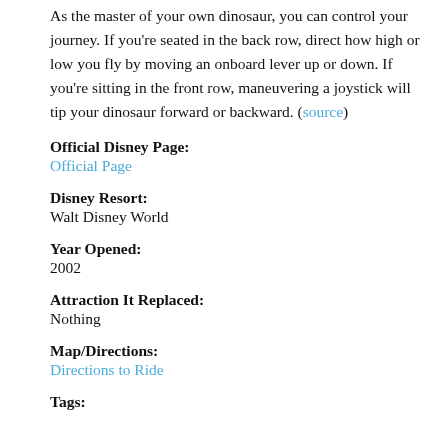As the master of your own dinosaur, you can control your journey. If you're seated in the back row, direct how high or low you fly by moving an onboard lever up or down. If you're sitting in the front row, maneuvering a joystick will tip your dinosaur forward or backward. (source)
Official Disney Page:
Official Page
Disney Resort:
Walt Disney World
Year Opened:
2002
Attraction It Replaced:
Nothing
Map/Directions:
Directions to Ride
Tags: